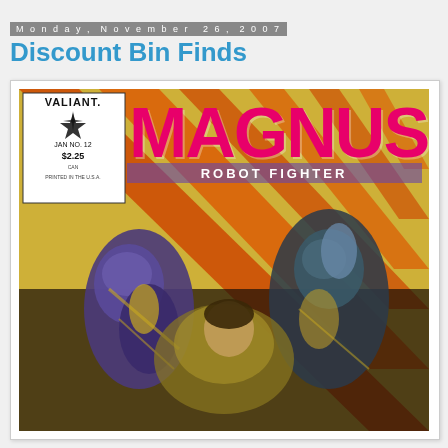Monday, November 26, 2007
Discount Bin Finds
[Figure (illustration): Comic book cover for Magnus Robot Fighter No. 12, published by Valiant. The cover shows the Valiant logo with a star in the upper left, the title 'Magnus' in large pink/red letters and 'Robot Fighter' below it in white. The background features diagonal orange beams against a yellow-dotted backdrop. Robot/armored characters are depicted fighting in the foreground. Price $2.25 shown, dated January, printed in the USA.]